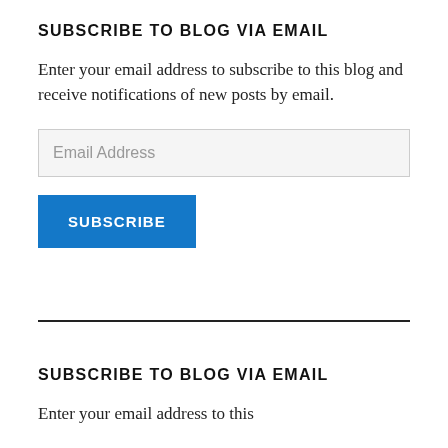SUBSCRIBE TO BLOG VIA EMAIL
Enter your email address to subscribe to this blog and receive notifications of new posts by email.
Email Address
SUBSCRIBE
SUBSCRIBE TO BLOG VIA EMAIL
Enter your email address to this